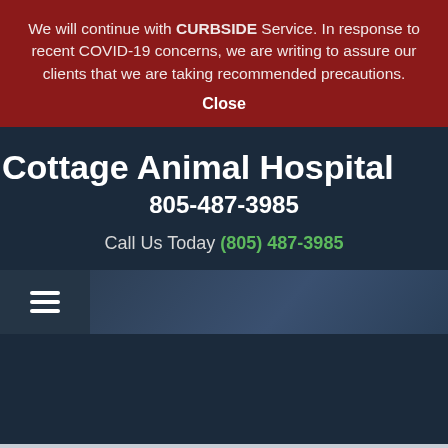We will continue with CURBSIDE Service. In response to recent COVID-19 concerns, we are writing to assure our clients that we are taking recommended precautions.
Close
Cottage Animal Hospital
805-487-3985
Call Us Today (805) 487-3985
[Figure (screenshot): Navigation bar with hamburger menu icon on left and dark blue gradient area on right]